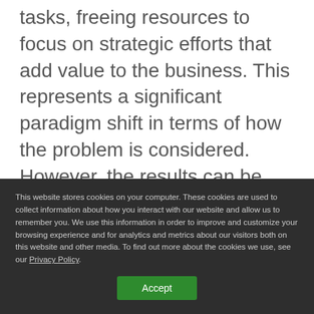tasks, freeing resources to focus on strategic efforts that add value to the business. This represents a significant paradigm shift in terms of how the problem is considered.  However, the results can be tremendous, leading to an organization with more accurate financials, controls, and real-time visibility into past, present, and predicted financial performance.  Importantly, business volume can grow without the associated need to scale human resources in kind.
This website stores cookies on your computer. These cookies are used to collect information about how you interact with our website and allow us to remember you. We use this information in order to improve and customize your browsing experience and for analytics and metrics about our visitors both on this website and other media. To find out more about the cookies we use, see our Privacy Policy.